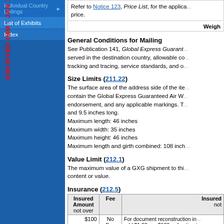Individual Country Listings
List of Exhibits
Index
Refer to Notice 123, Price List, for the applicable price.
Weight
General Conditions for Mailing
See Publication 141, Global Express Guarant... served in the destination country, allowable co... tracking and tracing, service standards, and o...
Size Limits (211.22)
The surface area of the address side of the ite... contain the Global Express Guaranteed Air W... endorsement, and any applicable markings. T... and 9.5 inches long.
Maximum length: 46 inches
Maximum width: 35 inches
Maximum height: 46 inches
Maximum length and girth combined: 108 inch...
Value Limit (212.1)
The maximum value of a GXG shipment to thi... content or value.
Insurance (212.5)
| Insured Amount not over | Fee | Insured not |
| --- | --- | --- |
| $100 | No Fee | For document reconstruction in... add $1.00 per $100 or fraction t... |
| 200 | $1.00 |  |
| 300 | 2.00 |  |